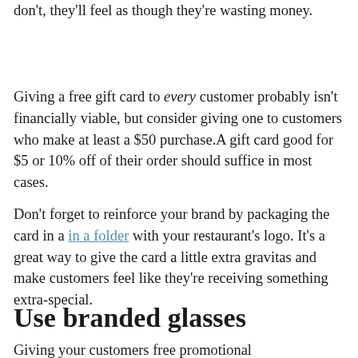don't, they'll feel as though they're wasting money.
Giving a free gift card to every customer probably isn't financially viable, but consider giving one to customers who make at least a $50 purchase.A gift card good for $5 or 10% off of their order should suffice in most cases.
Don't forget to reinforce your brand by packaging the card in a in a folder with your restaurant's logo. It's a great way to give the card a little extra gravitas and make customers feel like they're receiving something extra-special.
Use branded glasses
Giving your customers free promotional